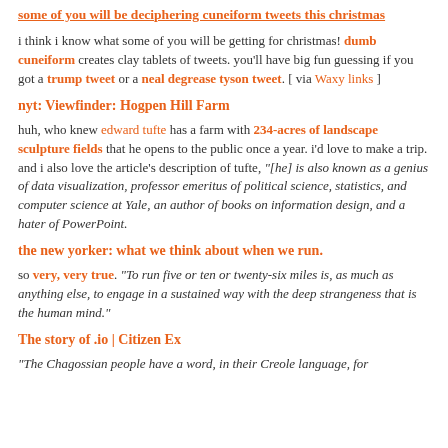some of you will be deciphering cuneiform tweets this christmas
i think i know what some of you will be getting for christmas! dumb cuneiform creates clay tablets of tweets. you'll have big fun guessing if you got a trump tweet or a neal degrease tyson tweet. [ via Waxy links ]
nyt: Viewfinder: Hogpen Hill Farm
huh, who knew edward tufte has a farm with 234-acres of landscape sculpture fields that he opens to the public once a year. i'd love to make a trip. and i also love the article's description of tufte, "[he] is also known as a genius of data visualization, professor emeritus of political science, statistics, and computer science at Yale, an author of books on information design, and a hater of PowerPoint.
the new yorker: what we think about when we run.
so very, very true. "To run five or ten or twenty-six miles is, as much as anything else, to engage in a sustained way with the deep strangeness that is the human mind."
The story of .io | Citizen Ex
"The Chagossian people have a word, in their Creole language, for...